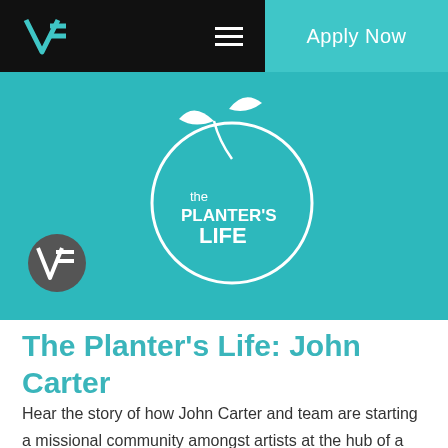V3  ☰  Apply Now
[Figure (logo): The Planter's Life logo — white circle with two leaf sprigs at top, text 'the PLANTER'S LIFE' inside on teal background, with V3 circular badge in bottom-left]
The Planter's Life: John Carter
Hear the story of how John Carter and team are starting a missional community amongst artists at the hub of a recording studio in